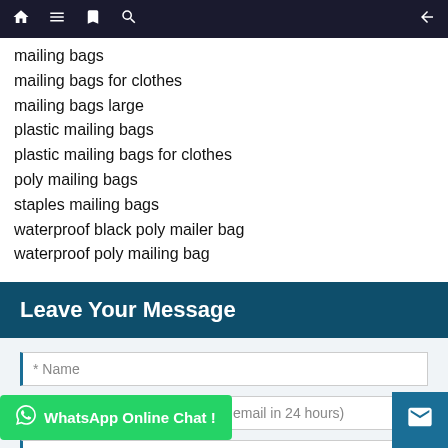Navigation bar with home, menu, bookmark, search icons and back arrow
mailing bags
mailing bags for clothes
mailing bags large
plastic mailing bags
plastic mailing bags for clothes
poly mailing bags
staples mailing bags
waterproof black poly mailer bag
waterproof poly mailing bag
Leave Your Message
* Name
* Email/Messenger(we reply via email in 24 hours)
Phone/WhatsApp/WeChat (Very important)
WhatsApp Online Chat !